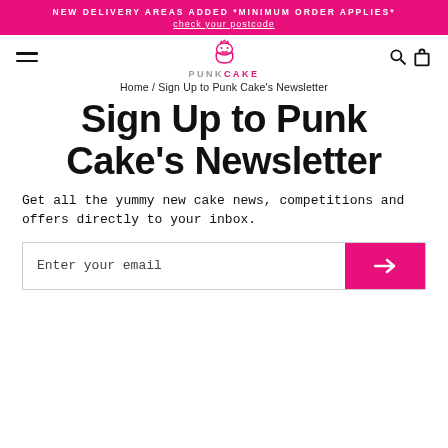NEW DELIVERY AREAS ADDED *MINIMUM ORDER APPLIES* check your postcode
[Figure (logo): Punk Cake logo with cupcake icon and text PUNK CAKE]
Home / Sign Up to Punk Cake's Newsletter
Sign Up to Punk Cake's Newsletter
Get all the yummy new cake news, competitions and offers directly to your inbox.
Enter your email